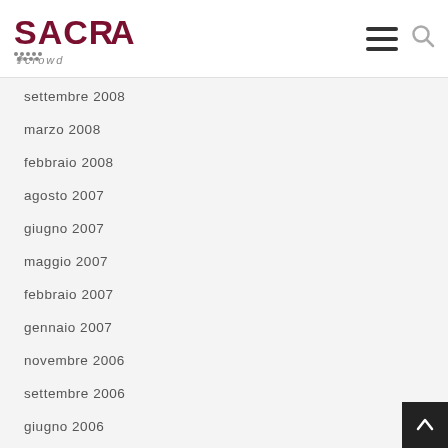SACRA crowd
settembre 2008
marzo 2008
febbraio 2008
agosto 2007
giugno 2007
maggio 2007
febbraio 2007
gennaio 2007
novembre 2006
settembre 2006
giugno 2006
gennaio 2006
dicembre 2005
novembre 2005